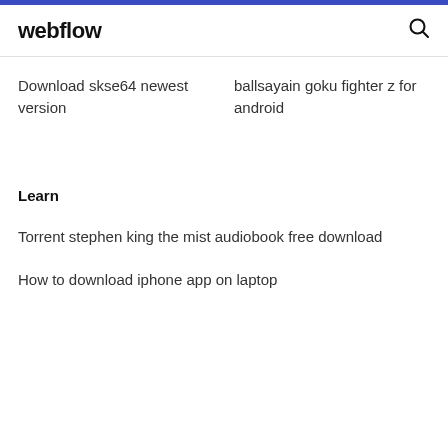webflow
Download skse64 newest version
ballsayain goku fighter z for android
Learn
Torrent stephen king the mist audiobook free download
How to download iphone app on laptop